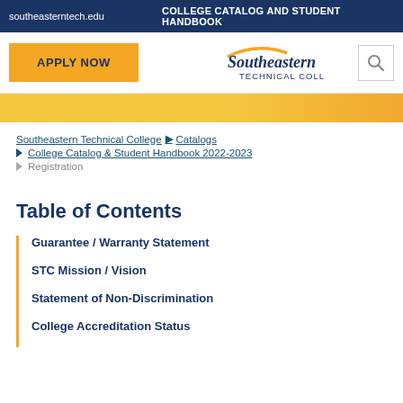southeasterntech.edu | COLLEGE CATALOG AND STUDENT HANDBOOK
[Figure (logo): APPLY NOW button, Southeastern Technical College logo, and search icon navigation bar]
Southeastern Technical College > Catalogs > College Catalog & Student Handbook 2022-2023 > Registration
Table of Contents
Guarantee / Warranty Statement
STC Mission / Vision
Statement of Non-Discrimination
College Accreditation Status